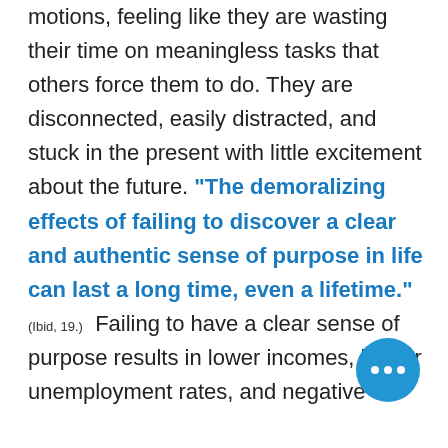motions, feeling like they are wasting their time on meaningless tasks that others force them to do. They are disconnected, easily distracted, and stuck in the present with little excitement about the future. “The demoralizing effects of failing to discover a clear and authentic sense of purpose in life can last a long time, even a lifetime.” (Ibid, 19.) Failing to have a clear sense of purpose results in lower incomes, higher unemployment rates, and negative